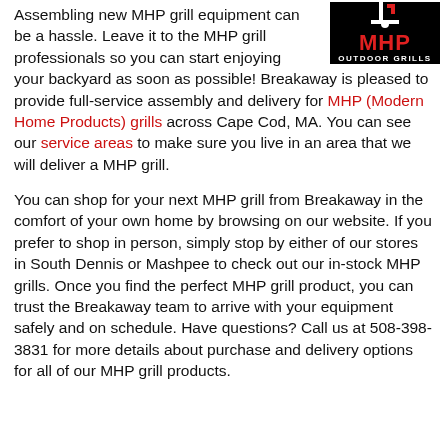[Figure (logo): MHP Outdoor Grills logo: black background with white grill icon, red MHP text, white OUTDOOR GRILLS text]
Assembling new MHP grill equipment can be a hassle. Leave it to the MHP grill professionals so you can start enjoying your backyard as soon as possible! Breakaway is pleased to provide full-service assembly and delivery for MHP (Modern Home Products) grills across Cape Cod, MA. You can see our service areas to make sure you live in an area that we will deliver a MHP grill.
You can shop for your next MHP grill from Breakaway in the comfort of your own home by browsing on our website. If you prefer to shop in person, simply stop by either of our stores in South Dennis or Mashpee to check out our in-stock MHP grills. Once you find the perfect MHP grill product, you can trust the Breakaway team to arrive with your equipment safely and on schedule. Have questions? Call us at 508-398-3831 for more details about purchase and delivery options for all of our MHP grill products.